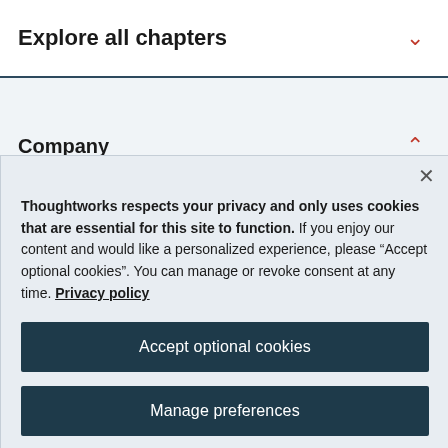Explore all chapters
Company
Thoughtworks respects your privacy and only uses cookies that are essential for this site to function. If you enjoy our content and would like a personalized experience, please “Accept optional cookies”. You can manage or revoke consent at any time. Privacy policy
Accept optional cookies
Manage preferences